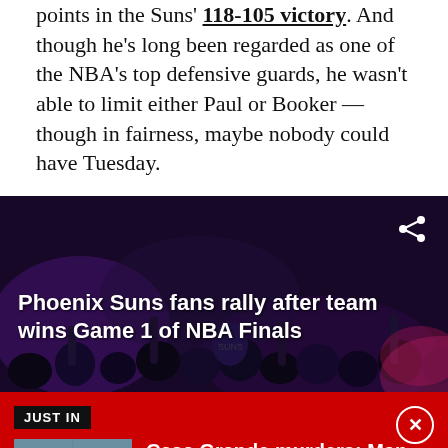points in the Suns' 118-105 victory. And though he's long been regarded as one of the NBA's top defensive guards, he wasn't able to limit either Paul or Booker — though in fairness, maybe nobody could have Tuesday.
[Figure (screenshot): Video thumbnail showing Phoenix Suns fans celebrating, dark crowd scene with purple/blue lighting, overlaid with title 'Phoenix Suns fans rally after team wins Game 1 of NBA Finals' and a share icon in the top right.]
JUST IN
[Figure (photo): Mugshot-style photo of a man in an orange shirt against a gray-blue background]
Casa Grande murders: Man arrested, accused of killing members of his family
A man has been arrested in connection with the deaths of four family members near Casa Grande, according to officials with the Pinal County Sheriff's Office.